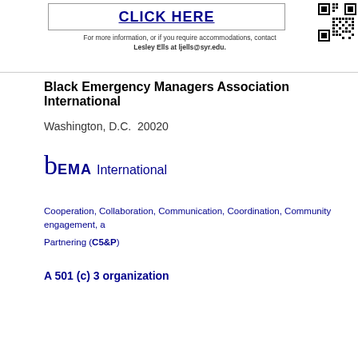CLICK HERE
For more information, or if you require accommodations, contact Lesley Ells at ljells@syr.edu.
[Figure (other): QR code in upper right corner]
Black Emergency Managers Association International
Washington, D.C.  20020
bEMA International
Cooperation, Collaboration, Communication, Coordination, Community engagement, and Partnering (C5&P)
A 501 (c) 3 organization